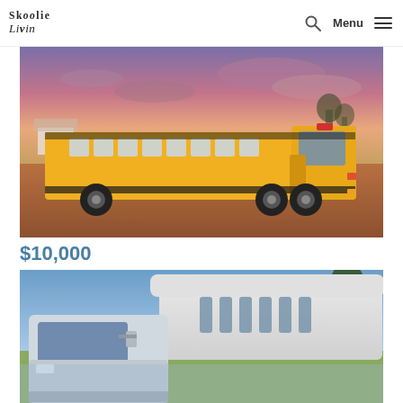Skoolie Livin — Search Menu
[Figure (photo): Yellow school bus parked on red dirt ground with dramatic purple-pink sunset sky backdrop and rural landscape behind it]
$10,000
[Figure (photo): White converted bus/RV with raised roof cab-over style, shown from front-side angle with trees and blue sky in background, partially cut off at bottom]